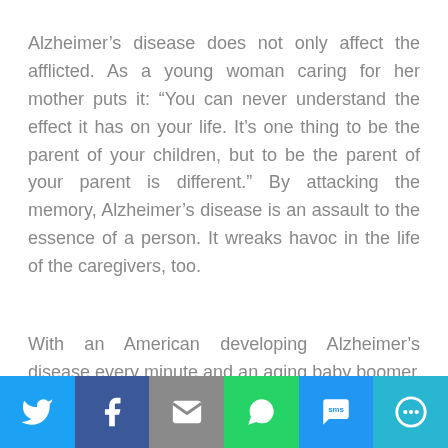Alzheimer's disease does not only affect the afflicted. As a young woman caring for her mother puts it: “You can never understand the effect it has on your life. It’s one thing to be the parent of your children, but to be the parent of your parent is different.” By attacking the memory, Alzheimer’s disease is an assault to the essence of a person. It wreaks havoc in the life of the caregivers, too.
With an American developing Alzheimer’s disease every minute and an aging baby boomer
[Figure (infographic): Social media share bar with icons for Twitter, Facebook, Email, WhatsApp, SMS, and More.]